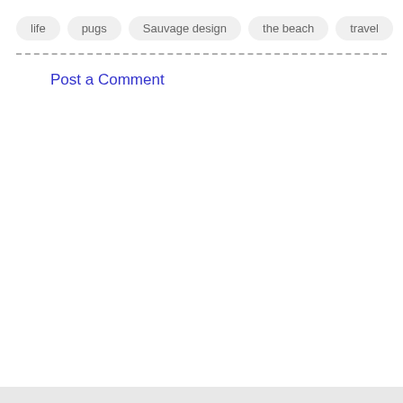life
pugs
Sauvage design
the beach
travel
Post a Comment